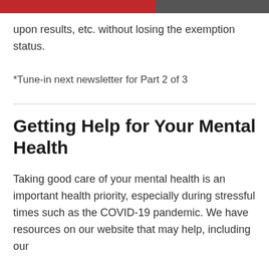upon results, etc. without losing the exemption status.
*Tune-in next newsletter for Part 2 of 3
Getting Help for Your Mental Health
Taking good care of your mental health is an important health priority, especially during stressful times such as the COVID-19 pandemic. We have resources on our website that may help, including our